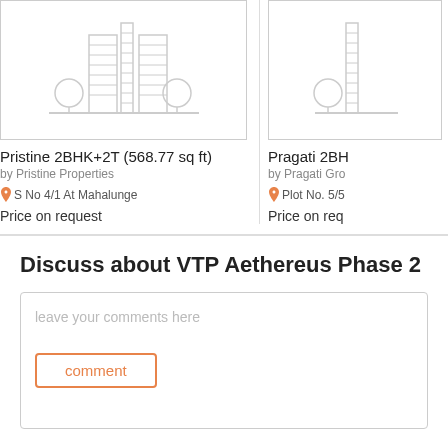[Figure (illustration): Building/apartment placeholder icon with two trees and horizontal lines]
Pristine 2BHK+2T (568.77 sq ft)
by Pristine Properties
S No 4/1 At Mahalunge
Price on request
[Figure (illustration): Partial building placeholder icon cropped on right side]
Pragati 2BH
by Pragati Gro
Plot No. 5/5
Price on req
Discuss about VTP Aethereus Phase 2
leave your comments here
comment